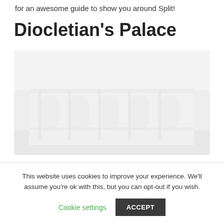for an awesome guide to show you around Split!
Diocletian's Palace
[Figure (photo): Faded/washed-out photograph of Diocletian's Palace in Split, Croatia — large stone historic structure with archways and columns, very light exposure making details barely visible.]
This website uses cookies to improve your experience. We'll assume you're ok with this, but you can opt-out if you wish.
Cookie settings
ACCEPT